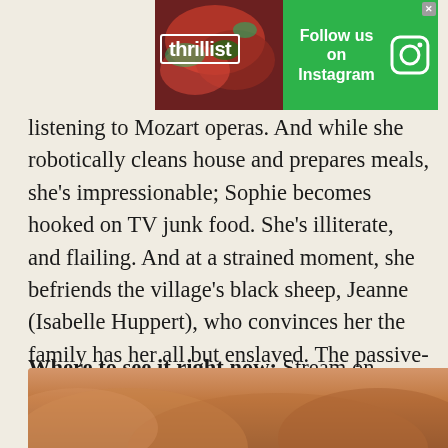[Figure (other): Thrillist advertisement banner with green background, food photo, and 'Follow us on Instagram' text with Instagram icon]
listening to Mozart operas. And while she robotically cleans house and prepares meals, she's impressionable; Sophie becomes hooked on TV junk food. She's illiterate, and flailing. And at a strained moment, she befriends the village's black sheep, Jeanne (Isabelle Huppert), who convinces her the family has her all but enslaved. The passive-aggressive class war eventually erupts into something more literal, but Chabrol restrains every revelation -- you will not see the ending coming, despite being totally inevitable.
Where to see it right now: Stream on FilmStruck
[Figure (photo): Partial photo of a person with reddish-brown hair visible at bottom of page]